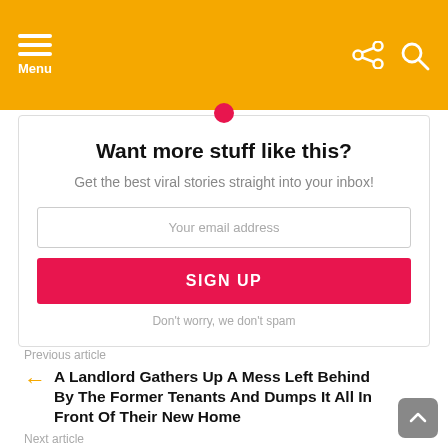Menu
Want more stuff like this?
Get the best viral stories straight into your inbox!
Your email address
SIGN UP
Don't worry, we don't spam
Previous article
A Landlord Gathers Up A Mess Left Behind By The Former Tenants And Dumps It All In Front Of Their New Home
Next article